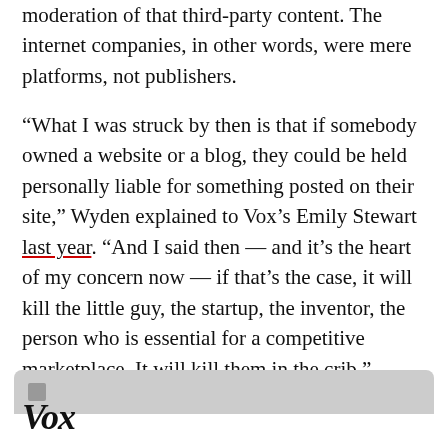moderation of that third-party content. The internet companies, in other words, were mere platforms, not publishers.
“What I was struck by then is that if somebody owned a website or a blog, they could be held personally liable for something posted on their site,” Wyden explained to Vox’s Emily Stewart last year. “And I said then — and it’s the heart of my concern now — if that’s the case, it will kill the little guy, the startup, the inventor, the person who is essential for a competitive marketplace. It will kill them in the crib.”
[Figure (other): Gray rounded bar/card element partially visible at bottom]
Vox